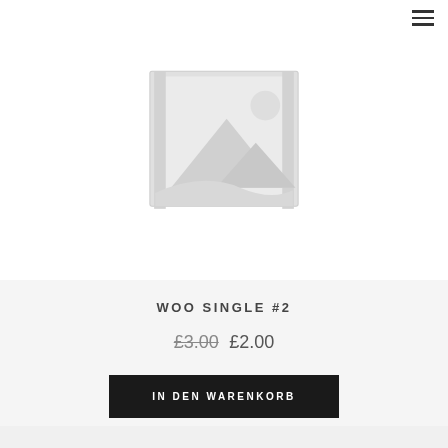[Figure (illustration): Placeholder product image with mountain/landscape icon in light gray]
WOO SINGLE #2
£3.00 £2.00
IN DEN WARENKORB